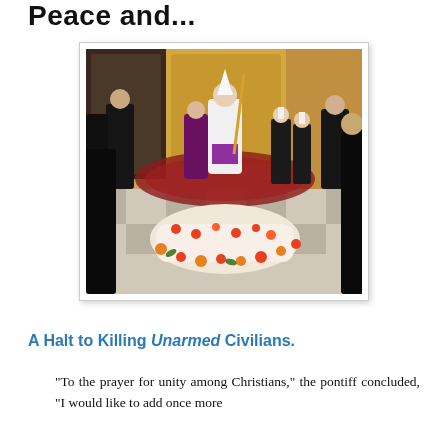Peace and...
[Figure (photo): Clergy performing a religious ceremony around a flower-decorated coffin in an ornate church interior. A figure in white robes stands at the head, with others in black robes gathered around.]
A Halt to Killing Unarmed Civilians.
"To the prayer for unity among Christians," the pontiff concluded, "I would like to add once more